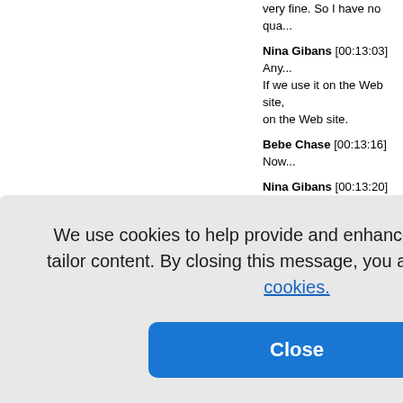very fine. So I have no qua...
Nina Gibans [00:13:03] Any... If we use it on the Web site, ... on the Web site.
Bebe Chase [00:13:16] Now...
Nina Gibans [00:13:20] So ...
Bebe Chase [00:13:25] I do... would. But I'm not working a...
Nina Gibans [00:13:37] Do ...
Bebe Chase [00:13:39] Oh ... far anymore.
Nina Gibans [00:13:45] You...
:13:46] Oh, ... aker Squa... of restaura... gone out. I... a five and t... aker Square... i could alwa... here's a lot... nd I wish w... there until they get that situ...
We use cookies to help provide and enhance our service and tailor content. By closing this message, you agree to the use of cookies.
Close